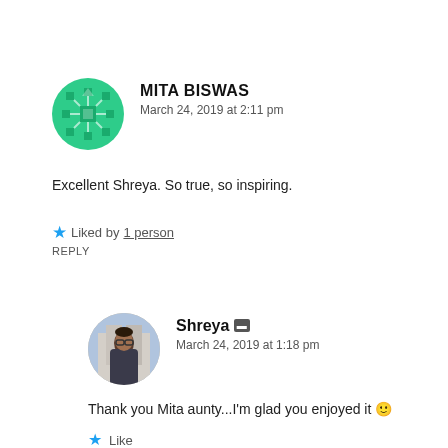[Figure (illustration): Green geometric snowflake-style avatar for Mita Biswas]
MITA BISWAS
March 24, 2019 at 2:11 pm
Excellent Shreya. So true, so inspiring.
★ Liked by 1 person
REPLY
[Figure (photo): Round avatar photo of Shreya, a woman with glasses outdoors]
Shreya 🔲
March 24, 2019 at 1:18 pm
Thank you Mita aunty...I'm glad you enjoyed it 🙂
★ Like